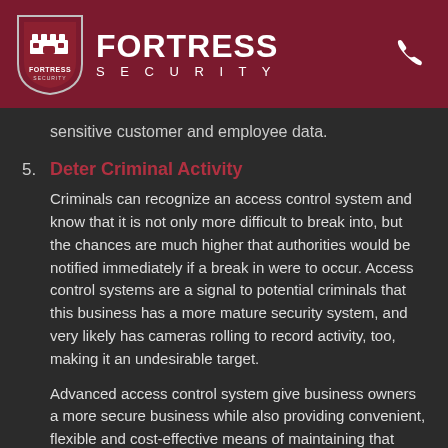[Figure (logo): Fortress Security logo: shield icon with castle on left, FORTRESS SECURITY text in white on dark red header bar, phone icon on right]
sensitive customer and employee data.
5. Deter Criminal Activity
Criminals can recognize an access control system and know that it is not only more difficult to break into, but the chances are much higher that authorities would be notified immediately if a break in were to occur. Access control systems are a signal to potential criminals that this business has a more mature security system, and very likely has cameras rolling to record activity, too, making it an undesirable target.
Advanced access control system give business owners a more secure business while also providing convenient, flexible and cost-effective means of maintaining that security.